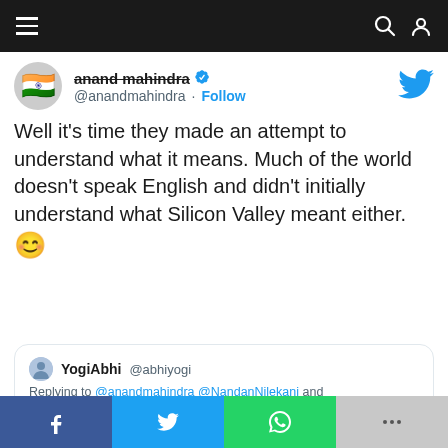Navigation bar with menu, search, and user icons
[Figure (screenshot): Twitter profile avatar with Indian flag emoji]
anand mahindra @anandmahindra · Follow
Well it's time they made an attempt to understand what it means. Much of the world doesn't speak English and didn't initially understand what Silicon Valley meant either. 😊
YogiAbhi @abhiyogi
Replying to @anandmahindra @NandanNilekani and @SrinivasPReddy
Good and congratulations to the winner. But Silicon Valley is a metaphor and when u say tech halli of India internationally, no one will understand what it means unless they know Kannada
Social share buttons: Facebook, Twitter, WhatsApp, More